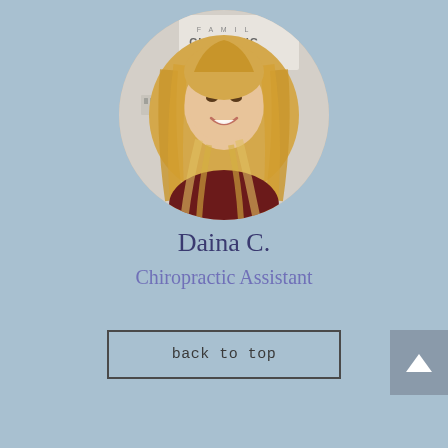[Figure (photo): Circular portrait photo of Daina C., a woman with long blonde hair, smiling, standing in front of a Family Chiropractic Center sign]
Daina C.
Chiropractic Assistant
back to top